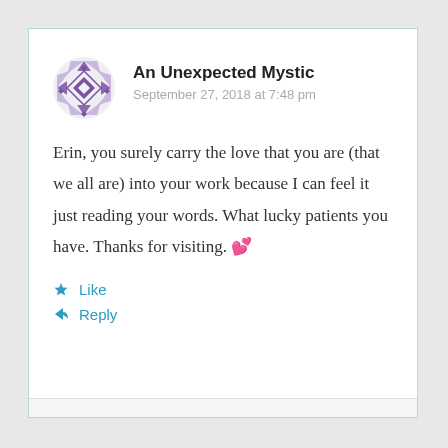[Figure (illustration): Circular avatar with purple geometric/floral diamond pattern design]
An Unexpected Mystic
September 27, 2018 at 7:48 pm
Erin, you surely carry the love that you are (that we all are) into your work because I can feel it just reading your words. What lucky patients you have. Thanks for visiting. 💕
Like
Reply